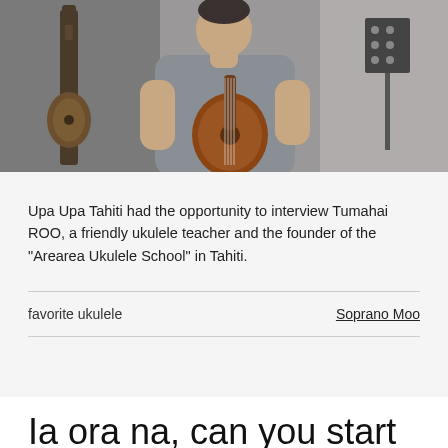[Figure (photo): A man in a gray t-shirt holding and playing a ukulele, with a guitar visible on the left and a music stand on the right, in a studio-like setting.]
Upa Upa Tahiti had the opportunity to interview Tumahai ROO, a friendly ukulele teacher and the founder of the "Arearea Ukulele School" in Tahiti.
| favorite ukulele | Soprano Moo |
| --- | --- |
Ia ora na, can you start by introducing yourself?